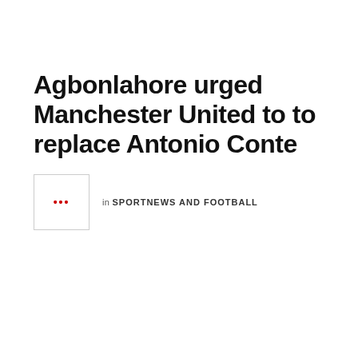Agbonlahore urged Manchester United to to replace Antonio Conte
in SPORTNEWS AND FOOTBALL